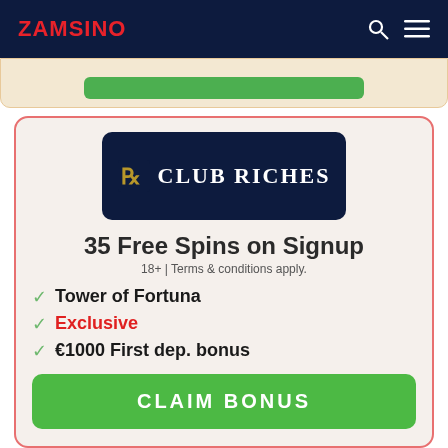ZAMSINO
[Figure (logo): Club Riches casino logo — dark navy rounded rectangle with gold CR emblem and white uppercase text 'CLUB RICHES']
35 Free Spins on Signup
18+ | Terms & conditions apply.
Tower of Fortuna
Exclusive
€1000 First dep. bonus
CLAIM BONUS